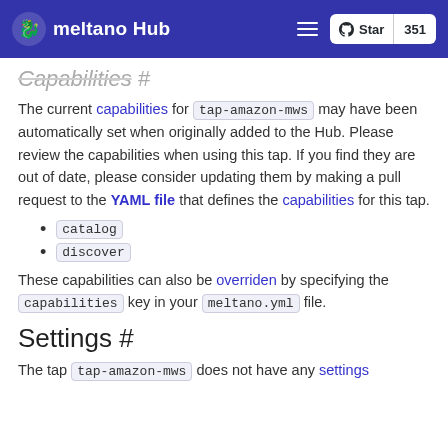meltano Hub  Star 351
Capabilities #
The current capabilities for tap-amazon-mws may have been automatically set when originally added to the Hub. Please review the capabilities when using this tap. If you find they are out of date, please consider updating them by making a pull request to the YAML file that defines the capabilities for this tap.
catalog
discover
These capabilities can also be overriden by specifying the capabilities key in your meltano.yml file.
Settings #
The tap tap-amazon-mws does not have any settings